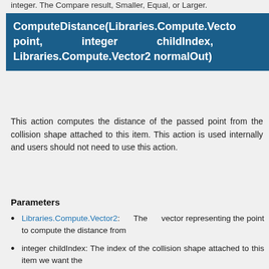integer. The Compare result, Smaller, Equal, or Larger.
ComputeDistance(Libraries.Compute.Vector2 point, integer childIndex, Libraries.Compute.Vector2 normalOut)
This action computes the distance of the passed point from the collision shape attached to this item. This action is used internally and users should not need to use this action.
Parameters
Libraries.Compute.Vector2: The vector representing the point to compute the distance from
integer childIndex: The index of the collision shape attached to this item we want the bounding box of
Libraries.Compute.Vector2: The direction of the point from the shape